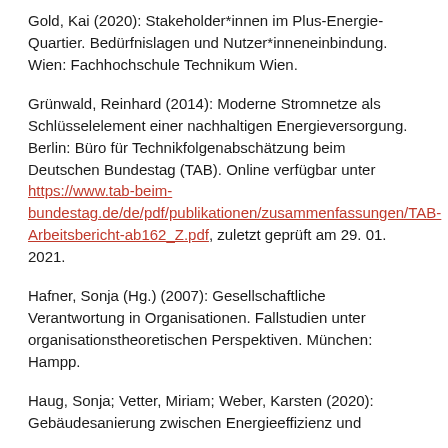Gold, Kai (2020): Stakeholder*innen im Plus-Energie-Quartier. Bedürfnislagen und Nutzer*inneneinbindung. Wien: Fachhochschule Technikum Wien.
Grünwald, Reinhard (2014): Moderne Stromnetze als Schlüsselelement einer nachhaltigen Energieversorgung. Berlin: Büro für Technikfolgenabschätzung beim Deutschen Bundestag (TAB). Online verfügbar unter https://www.tab-beim-bundestag.de/de/pdf/publikationen/zusammenfassungen/TAB-Arbeitsbericht-ab162_Z.pdf, zuletzt geprüft am 29. 01. 2021.
Hafner, Sonja (Hg.) (2007): Gesellschaftliche Verantwortung in Organisationen. Fallstudien unter organisationstheoretischen Perspektiven. München: Hampp.
Haug, Sonja; Vetter, Miriam; Weber, Karsten (2020): Gebäudesanierung zwischen Energieeffizienz und